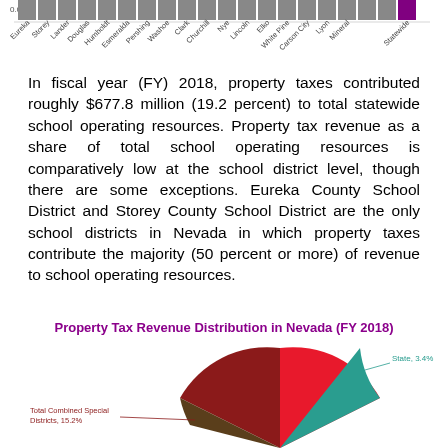[Figure (bar-chart): Partial bar chart showing property tax share across Nevada counties, clipped at top of page]
In fiscal year (FY) 2018, property taxes contributed roughly $677.8 million (19.2 percent) to total statewide school operating resources. Property tax revenue as a share of total school operating resources is comparatively low at the school district level, though there are some exceptions. Eureka County School District and Storey County School District are the only school districts in Nevada in which property taxes contribute the majority (50 percent or more) of revenue to school operating resources.
[Figure (pie-chart): Pie chart partially visible showing State at 3.4% (teal), Total Combined Special Districts at 15.2% (dark red/maroon), and other large red slice]